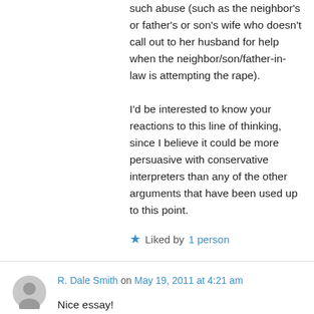such abuse (such as the neighbor's or father's or son's wife who doesn't call out to her husband for help when the neighbor/son/father-in-law is attempting the rape).
I'd be interested to know your reactions to this line of thinking, since I believe it could be more persuasive with conservative interpreters than any of the other arguments that have been used up to this point.
★ Liked by 1 person
R. Dale Smith on May 19, 2011 at 4:21 am
Nice essay!
Gay seminary grad here and professor of NT. I